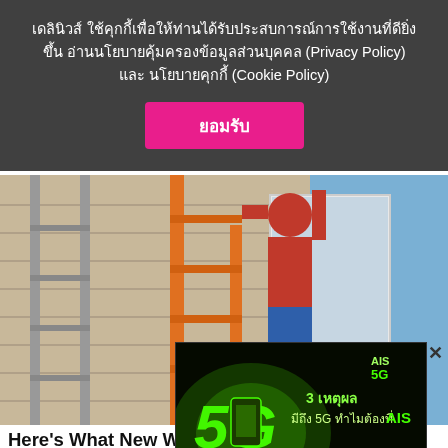เดลินิวส์ ใช้คุกกี้เพื่อให้ท่านได้รับประสบการณ์การใช้งานที่ดียิ่งขึ้น อ่านนโยบายคุ้มครองข้อมูลส่วนบุคคล (Privacy Policy) และ นโยบายคุกกี้ (Cookie Policy)
ยอมรับ
[Figure (photo): A person in a red shirt and blue jeans working on a window installation on the exterior of a house, standing on or near an orange ladder. Another person is visible to the right.]
Here's What New Windows Should Cost You In 2022
[Figure (photo): AIS 5G advertisement banner with green glowing 5G logo and text '3 เหตุผล มีถึง 5G ทำไมต้องที่ AIS คลิก']